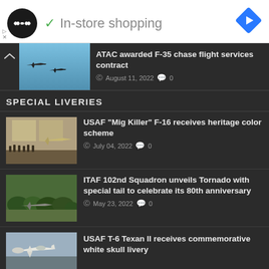[Figure (screenshot): Advertisement banner with circular logo, checkmark, 'In-store shopping' text, and blue navigation diamond icon]
ATAC awarded F-35 chase flight services contract
© August 11, 2022  💬 0
SPECIAL LIVERIES
USAF "Mig Killer" F-16 receives heritage color scheme
© July 04, 2022  💬 0
ITAF 102nd Squadron unveils Tornado with special tail to celebrate its 80th anniversary
© May 23, 2022  💬 0
USAF T-6 Texan II receives commemorative white skull livery